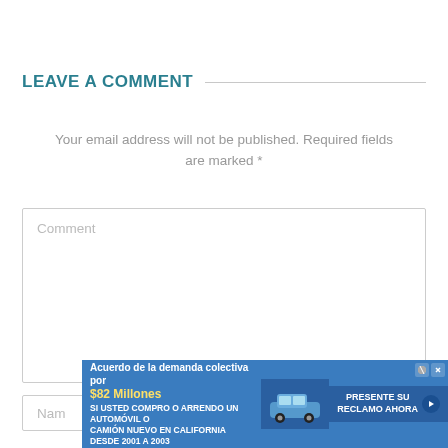LEAVE A COMMENT
Your email address will not be published. Required fields are marked *
Comment
Name
[Figure (other): Advertisement banner: 'Acuerdo de la demanda colectiva por $82 Millones - SI USTED COMPRO O ARRENDO UN AUTOMÓVIL O CAMIÓN NUEVO EN CALIFORNIA DESDE 2001 A 2003 PRESENTE SU RECLAMO AHORA']